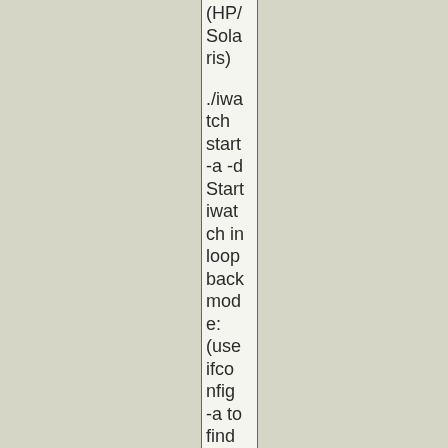| (HP/Solaris) |
| ./iwatch start -a -d Start iwatch in loopback mode: (use ifconfig -a to find out your inter |